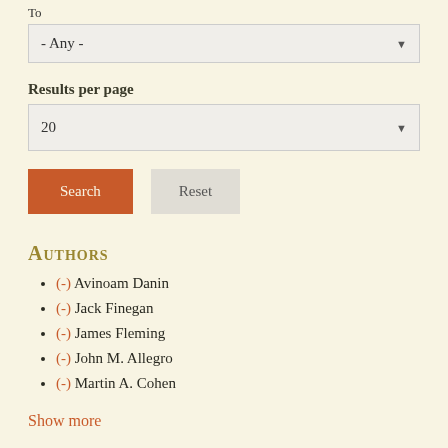To
- Any -
Results per page
20
Search
Reset
Authors
(-) Avinoam Danin
(-) Jack Finegan
(-) James Fleming
(-) John M. Allegro
(-) Martin A. Cohen
Show more